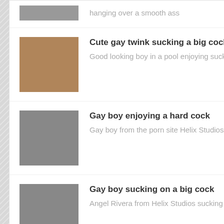hanging over a smooth ass
Cute gay twink sucking a big cock
Good looking boy in a pool enjoying sucking a big thick cock
Gay boy enjoying a hard cock
Gay boy from the porn site Helix Studios sucking on a hard cut cock
Gay boy sucking on a big cock
Angel Rivera from Helix Studios sucking Corbin Colbys big cock
Gay porn star Blake Mitchell in
Sexy muscular gay porn star Blake Mitchell bareback fucking ass
Latest Porn From Belami
Boy with a smooth shaved cock